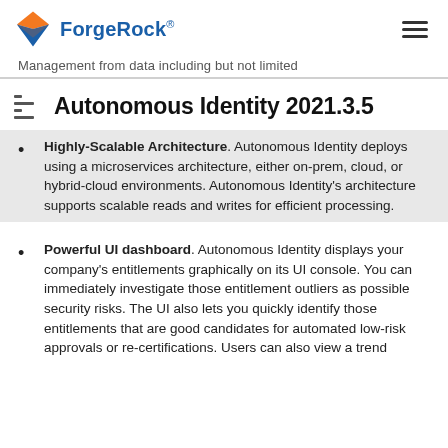ForgeRock
Management from data including but not limited
Autonomous Identity 2021.3.5
Highly-Scalable Architecture. Autonomous Identity deploys using a microservices architecture, either on-prem, cloud, or hybrid-cloud environments. Autonomous Identity's architecture supports scalable reads and writes for efficient processing.
Powerful UI dashboard. Autonomous Identity displays your company's entitlements graphically on its UI console. You can immediately investigate those entitlement outliers as possible security risks. The UI also lets you quickly identify those entitlements that are good candidates for automated low-risk approvals or re-certifications. Users can also view a trend